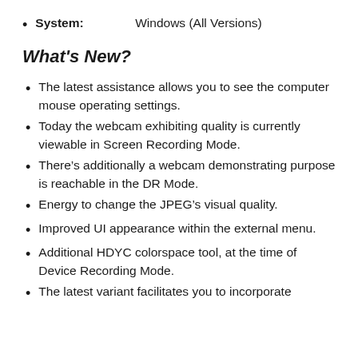System: Windows (All Versions)
What's New?
The latest assistance allows you to see the computer mouse operating settings.
Today the webcam exhibiting quality is currently viewable in Screen Recording Mode.
There's additionally a webcam demonstrating purpose is reachable in the DR Mode.
Energy to change the JPEG's visual quality.
Improved UI appearance within the external menu.
Additional HDYC colorspace tool, at the time of Device Recording Mode.
The latest variant facilitates you to incorporate